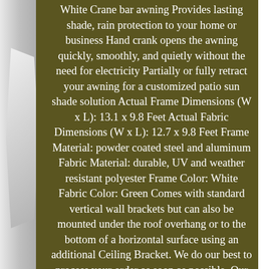White Crane bar awning Provides lasting shade, rain protection to your home or business Hand crank opens the awning quickly, smoothly, and quietly without the need for electricity Partially or fully retract your awning for a customized patio sun shade solution Actual Frame Dimensions (W x L): 13.1 x 9.8 Feet Actual Fabric Dimensions (W x L): 12.7 x 9.8 Feet Frame Material: powder coated steel and aluminum Fabric Material: durable, UV and weather resistant polyester Frame Color: White Fabric Color: Green Comes with standard vertical wall brackets but can also be mounted under the roof overhang or to the bottom of a horizontal surface using an additional Ceiling Bracket. We do our best to process your order as soon as possible. Our products include: Driveway Gates, Iron Fence, Pedestrian gates, Sliding Gate Openers, Swing Gate Openers, Solar Gate Openers, Solar Panel Electric Locks, gate Parts and Accessories. Location: We are located in the state of Washington. We process